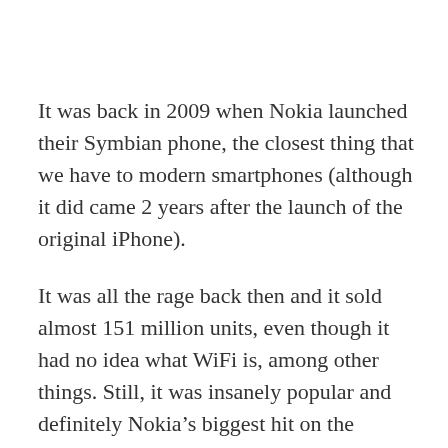It was back in 2009 when Nokia launched their Symbian phone, the closest thing that we have to modern smartphones (although it did came 2 years after the launch of the original iPhone).
It was all the rage back then and it sold almost 151 million units, even though it had no idea what WiFi is, among other things. Still, it was insanely popular and definitely Nokia’s biggest hit on the smartphone market.